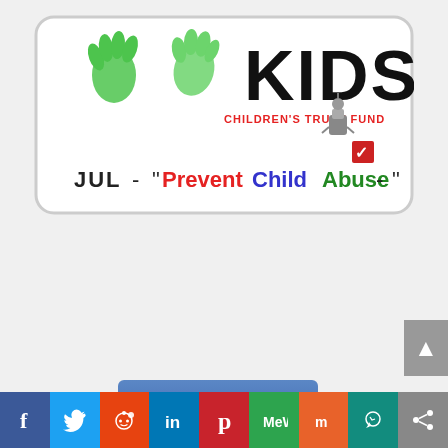[Figure (illustration): Missouri license plate with green handprints and KIDS text, Children's Trust Fund, JUL - Prevent Child Abuse]
CONTACT
PATCH - Parents and Their Children
Chillicothe Correctional Center
P.O. Box 871 Chillicothe, MO  64601
Email Us
[Figure (illustration): Follow us on Facebook button with Facebook logo]
[Figure (infographic): Social media sharing bar with icons for Facebook, Twitter, Reddit, LinkedIn, Pinterest, MeWe, Mix, WhatsApp, and Share]